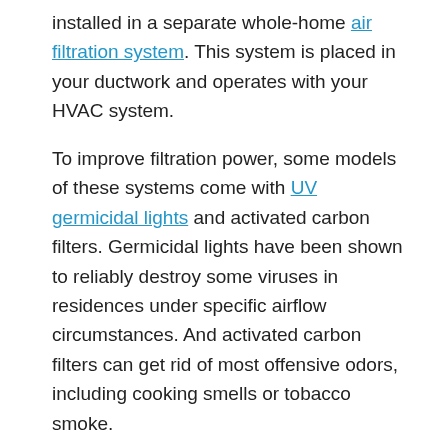installed in a separate whole-home air filtration system. This system is placed in your ductwork and operates with your HVAC system.
To improve filtration power, some models of these systems come with UV germicidal lights and activated carbon filters. Germicidal lights have been shown to reliably destroy some viruses in residences under specific airflow circumstances. And activated carbon filters can get rid of most offensive odors, including cooking smells or tobacco smoke.
What to Look for in a HEPA Filter for Your Home